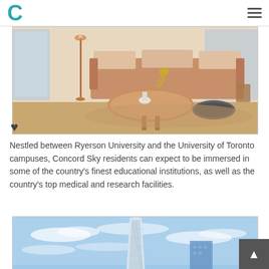C (Concord logo) with hamburger menu
[Figure (photo): Interior living room photo showing a modern sofa with cushions, wooden round coffee table, floor lamp, and large windows with city view — warm tan and beige tones]
Nestled between Ryerson University and the University of Toronto campuses, Concord Sky residents can expect to be immersed in some of the country's finest educational institutions, as well as the country's top medical and research facilities.
[Figure (photo): Exterior architectural rendering of Concord Sky tower — a tall modern glass skyscraper with a tapered top against a blue sky with wispy clouds, green foliage visible at bottom right]